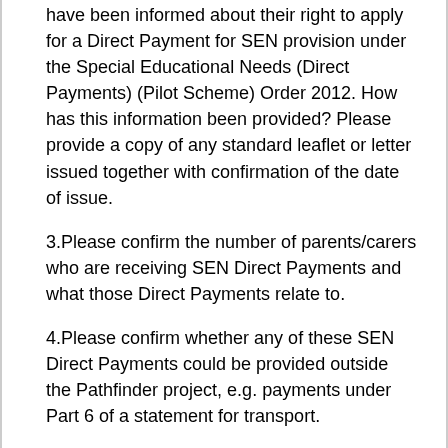have been informed about their right to apply for a Direct Payment for SEN provision under the Special Educational Needs (Direct Payments) (Pilot Scheme) Order 2012. How has this information been provided? Please provide a copy of any standard leaflet or letter issued together with confirmation of the date of issue.
3.Please confirm the number of parents/carers who are receiving SEN Direct Payments and what those Direct Payments relate to.
4.Please confirm whether any of these SEN Direct Payments could be provided outside the Pathfinder project, e.g. payments under Part 6 of a statement for transport.
5.Please provide a copy of your policy for considering requests for direct payments for SEN provision. If you do not have a policy, please confirm whether there are any limits placed on direct payments applications, e.g.